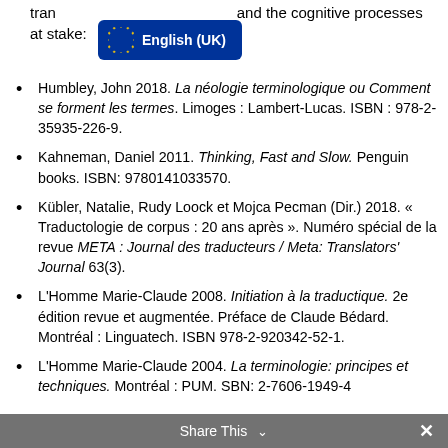tran… and the cognitive processes at stake:
[Figure (other): English (UK) language selector badge with EU flag]
Humbley, John 2018. La néologie terminologique ou Comment se forment les termes. Limoges : Lambert-Lucas. ISBN : 978-2-35935-226-9.
Kahneman, Daniel 2011. Thinking, Fast and Slow. Penguin books. ISBN: 9780141033570.
Kübler, Natalie, Rudy Loock et Mojca Pecman (Dir.) 2018. « Traductologie de corpus : 20 ans après ». Numéro spécial de la revue META : Journal des traducteurs / Meta: Translators' Journal 63(3).
L'Homme Marie-Claude 2008. Initiation à la traductique. 2e édition revue et augmentée. Préface de Claude Bédard. Montréal : Linguatech. ISBN 978-2-920342-52-1.
L'Homme Marie-Claude 2004. La terminologie: principes et techniques. Montréal : PUM. SBN: 2-7606-1949-4
Share This